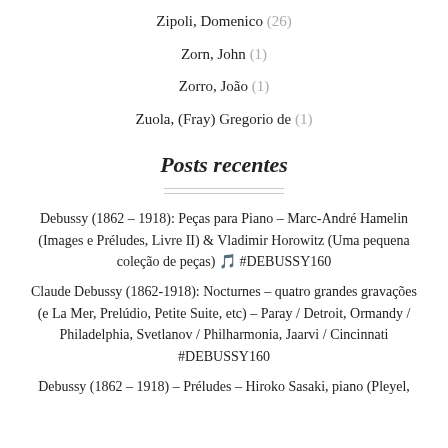Zipoli, Domenico (26)
Zorn, John (1)
Zorro, João (1)
Zuola, (Fray) Gregorio de (1)
Posts recentes
Debussy (1862 – 1918): Peças para Piano – Marc-André Hamelin (Images e Préludes, Livre II) & Vladimir Horowitz (Uma pequena coleção de peças) 🎵 #DEBUSSY160
Claude Debussy (1862-1918): Nocturnes – quatro grandes gravações (e La Mer, Prelúdio, Petite Suite, etc) – Paray / Detroit, Ormandy / Philadelphia, Svetlanov / Philharmonia, Jaarvi / Cincinnati #DEBUSSY160
Debussy (1862 – 1918) – Préludes – Hiroko Sasaki, piano (Pleyel,